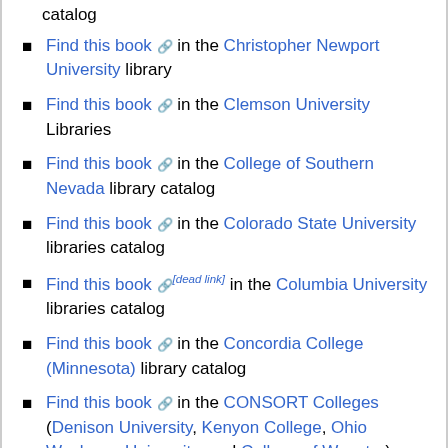catalog
Find this book [ext] in the Christopher Newport University library
Find this book [ext] in the Clemson University Libraries
Find this book [ext] in the College of Southern Nevada library catalog
Find this book [ext] in the Colorado State University libraries catalog
Find this book [ext][dead link] in the Columbia University libraries catalog
Find this book [ext] in the Concordia College (Minnesota) library catalog
Find this book [ext] in the CONSORT Colleges (Denison University, Kenyon College, Ohio Wesleyan University, and College of Wooster) libraries